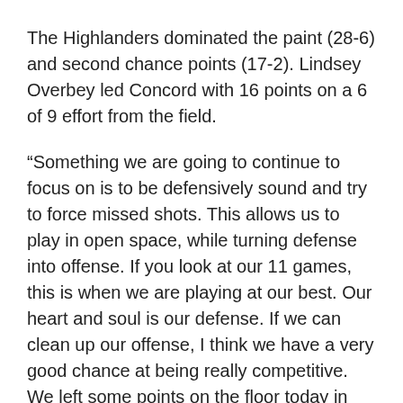The Highlanders dominated the paint (28-6) and second chance points (17-2). Lindsey Overbey led Concord with 16 points on a 6 of 9 effort from the field.
“Something we are going to continue to focus on is to be defensively sound and try to force missed shots. This allows us to play in open space, while turning defense into offense. If you look at our 11 games, this is when we are playing at our best. Our heart and soul is our defense. If we can clean up our offense, I think we have a very good chance at being really competitive. We left some points on the floor today in our transition play and we are going to need those points in the conference season,” said Radford head coach Mike McGuire.
— Courtesy of RU Athletics